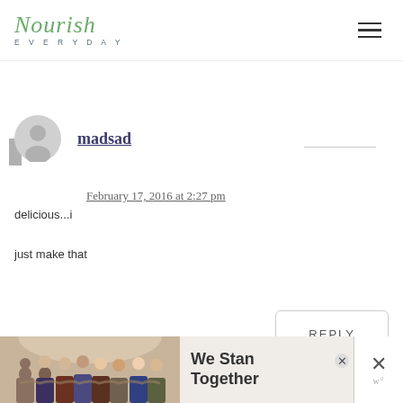[Figure (logo): Nourish Everyday logo with script text and 'EVERYDAY' subtitle in small caps]
madsad
February 17, 2016 at 2:27 pm
delicious...i
just make that
REPLY
[Figure (photo): Advertisement banner: group of people with arms around each other, text 'We Stand Together']